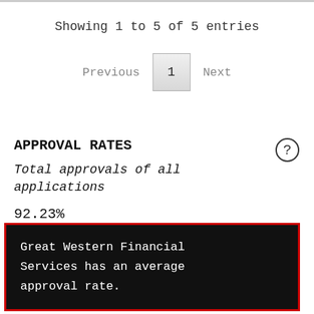Showing 1 to 5 of 5 entries
Previous  1  Next
APPROVAL RATES
Total approvals of all applications
92.23%
Great Western Financial Services has an average approval rate.